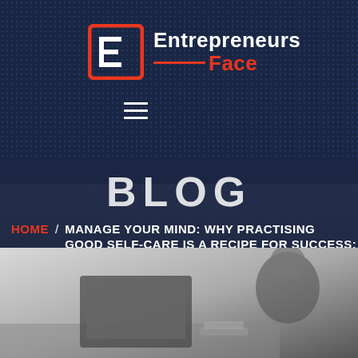[Figure (logo): Entrepreneurs Face logo with red square bracket E icon and text 'Entrepreneurs' in white and 'Face' in red with a red horizontal line]
[Figure (screenshot): Mobile website screenshot showing Entrepreneurs Face blog header with navigation hamburger menu icon]
BLOG
HOME / MANAGE YOUR MIND: WHY PRACTISING GOOD SELF-CARE IS A RECIPE FOR SUCCESS:
[Figure (photo): Black and white photo of a person working at a laptop or desk, viewed from a slight angle]